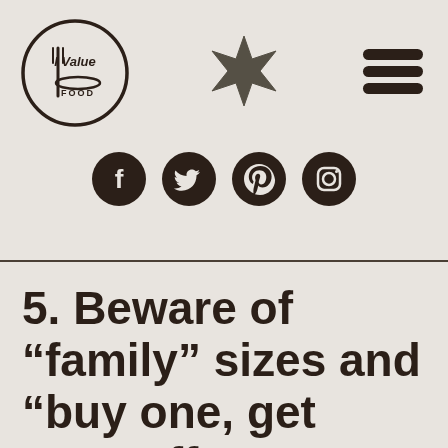[Figure (logo): I Value Food circular logo with fork icon]
[Figure (other): Star icon (Macy's style star) in dark brown]
[Figure (other): Hamburger menu icon (three horizontal lines) in dark brown]
[Figure (other): Social media icons row: Facebook, Twitter, Pinterest, Instagram — dark circles with white icons]
5. Beware of “family” sizes and “buy one, get one” offers.